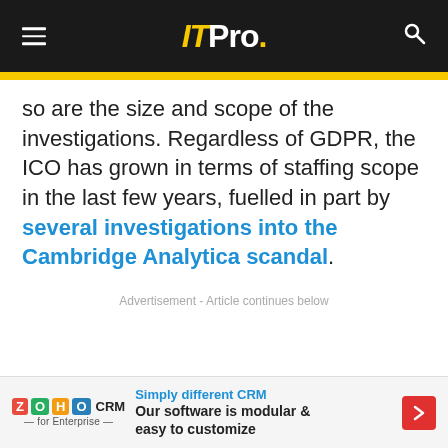ITPro.
so are the size and scope of the investigations. Regardless of GDPR, the ICO has grown in terms of staffing scope in the last few years, fuelled in part by several investigations into the Cambridge Analytica scandal.
Advertisement - Article continues below
[Figure (other): Zoho CRM advertisement banner: 'Simply different CRM — Our software is modular & easy to customize']